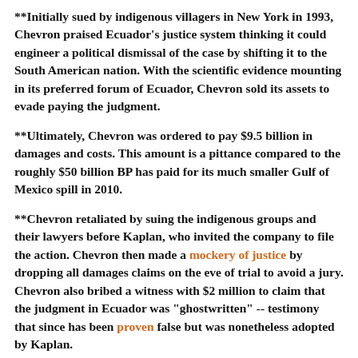**Initially sued by indigenous villagers in New York in 1993, Chevron praised Ecuador's justice system thinking it could engineer a political dismissal of the case by shifting it to the South American nation. With the scientific evidence mounting in its preferred forum of Ecuador, Chevron sold its assets to evade paying the judgment.
**Ultimately, Chevron was ordered to pay $9.5 billion in damages and costs. This amount is a pittance compared to the roughly $50 billion BP has paid for its much smaller Gulf of Mexico spill in 2010.
**Chevron retaliated by suing the indigenous groups and their lawyers before Kaplan, who invited the company to file the action. Chevron then made a mockery of justice by dropping all damages claims on the eve of trial to avoid a jury. Chevron also bribed a witness with $2 million to claim that the judgment in Ecuador was "ghostwritten" -- testimony that since has been proven false but was nonetheless adopted by Kaplan.
**The bribed Chevron witness, Alberto Guerra, later admitted under oath that he repeatedly lied before Kaplan. Separately, a forensic examination by the American expert J. Christopher Racich demonstrated that the Ecuador trial judge wrote the decision on